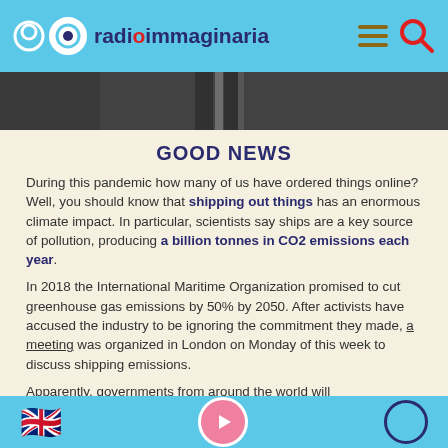radioimmaginaria
[Figure (photo): Dark image strip showing curtain or fabric with vertical lines, partially visible at top of content area]
GOOD NEWS
During this pandemic how many of us have ordered things online? Well, you should know that shipping out things has an enormous climate impact. In particular, scientists say ships are a key source of pollution, producing a billion tonnes in CO2 emissions each year.
In 2018 the International Maritime Organization promised to cut greenhouse gas emissions by 50% by 2050. After activists have accused the industry to be ignoring the commitment they made, a meeting was organized in London on Monday of this week to discuss shipping emissions.
Apparently, governments from around the world will
🇬🇧 ▶